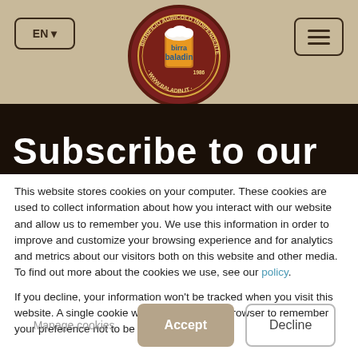[Figure (logo): Birra Baladin circular logo — Birrificio Agricolo Indipendente, Birra Viva Dal 1986, www.baladin.it, with illustrated beer glass]
Subscribe to our
This website stores cookies on your computer. These cookies are used to collect information about how you interact with our website and allow us to remember you. We use this information in order to improve and customize your browsing experience and for analytics and metrics about our visitors both on this website and other media. To find out more about the cookies we use, see our policy.
If you decline, your information won't be tracked when you visit this website. A single cookie will be used in your browser to remember your preference not to be tracked.
Manage cookies
Accept
Decline